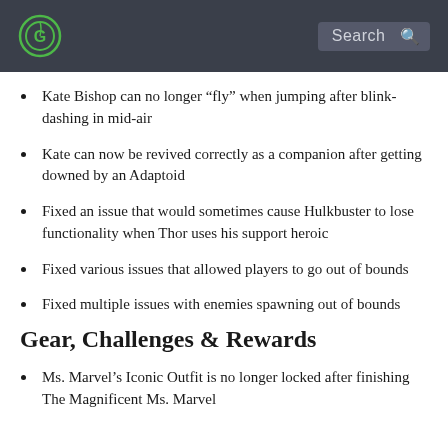[Site logo] Search
Kate Bishop can no longer “fly” when jumping after blink-dashing in mid-air
Kate can now be revived correctly as a companion after getting downed by an Adaptoid
Fixed an issue that would sometimes cause Hulkbuster to lose functionality when Thor uses his support heroic
Fixed various issues that allowed players to go out of bounds
Fixed multiple issues with enemies spawning out of bounds
Gear, Challenges & Rewards
Ms. Marvel’s Iconic Outfit is no longer locked after finishing The Magnificent Ms. Marvel